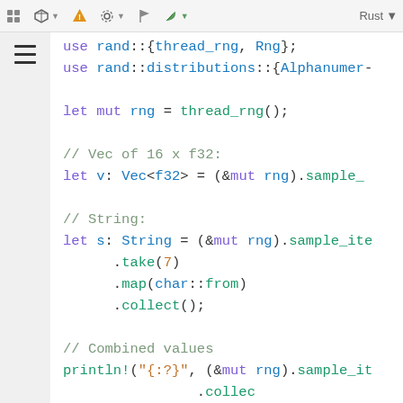[Figure (screenshot): IDE/editor toolbar with icons: puzzle piece, cube with arrow, warning triangle (orange), settings/gear with arrow, flag, leaf with arrow, and language selector showing 'Rust' with dropdown arrow]
[Figure (screenshot): Left sidebar with hamburger menu icon on grey background]
use rand::{thread_rng, Rng};
use rand::distributions::{Alphanumer-

let mut rng = thread_rng();

// Vec of 16 x f32:
let v: Vec<f32> = (&mut rng).sample_

// String:
let s: String = (&mut rng).sample_ite
    .take(7)
    .map(char::from)
    .collect();

// Combined values
println!("{:?}", (&mut rng).sample_it
                .collec

// Dice-rolling: